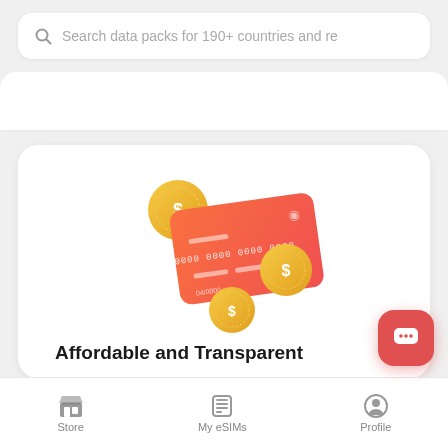Search data packs for 190+ countries and re
[Figure (illustration): 3D illustration of an orange/red credit card with gold coin currency symbols around it, representing affordable and transparent pricing]
Affordable and Transparent
Store | My eSIMs | Profile